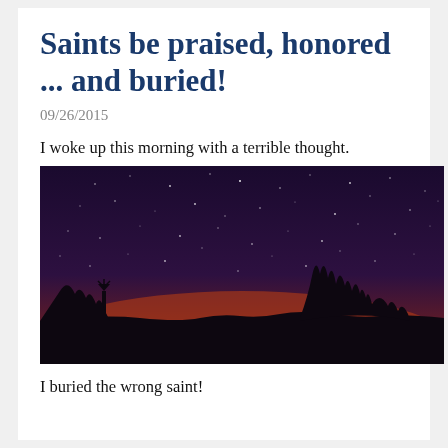Saints be praised, honored ... and buried!
09/26/2015
I woke up this morning with a terrible thought.
[Figure (photo): Night sky photograph showing a starry sky with a warm orange-pink glow on the horizon, silhouetted trees and a windmill in the foreground against a dark purple sky filled with stars.]
I buried the wrong saint!